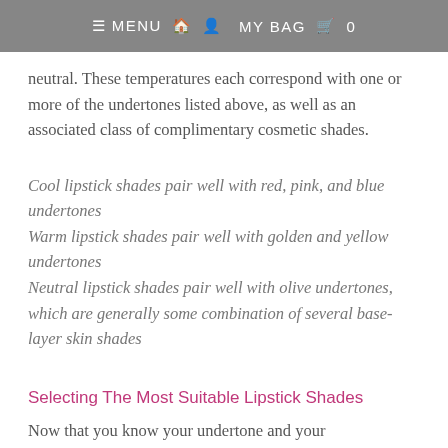≡ MENU  🏠  👤  MY BAG  🛍  0
neutral. These temperatures each correspond with one or more of the undertones listed above, as well as an associated class of complimentary cosmetic shades.
Cool lipstick shades pair well with red, pink, and blue undertones
Warm lipstick shades pair well with golden and yellow undertones
Neutral lipstick shades pair well with olive undertones, which are generally some combination of several base-layer skin shades
Selecting The Most Suitable Lipstick Shades
Now that you know your undertone and your "temperature" type of cosmetic counterpart, it's time to get to the fun stuff: selecting your most-likely-to-be-lovely lipstick shades!